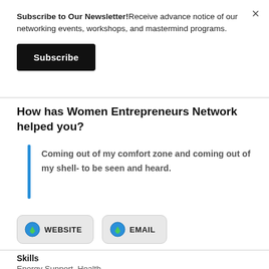Subscribe to Our Newsletter!Receive advance notice of our networking events, workshops, and mastermind programs.
Subscribe
How has Women Entrepreneurs Network helped you?
Coming out of my comfort zone and coming out of my shell- to be seen and heard.
WEBSITE
EMAIL
Skills
Energy Support, Health